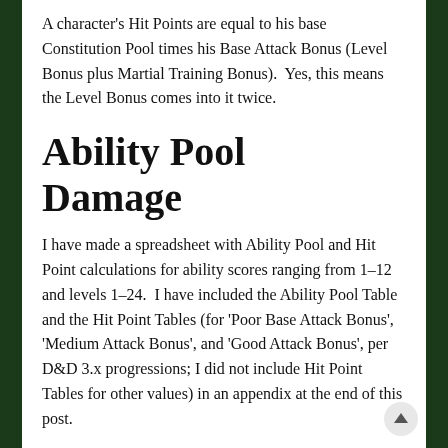A character's Hit Points are equal to his base Constitution Pool times his Base Attack Bonus (Level Bonus plus Martial Training Bonus).  Yes, this means the Level Bonus comes into it twice.
Ability Pool Damage
I have made a spreadsheet with Ability Pool and Hit Point calculations for ability scores ranging from 1–12 and levels 1–24.  I have included the Ability Pool Table and the Hit Point Tables (for 'Poor Base Attack Bonus', 'Medium Attack Bonus', and 'Good Attack Bonus', per D&D 3.x progressions; I did not include Hit Point Tables for other values) in an appendix at the end of this post.
Look at the Ability Pool values it looks like making ability damage a function of six-sided